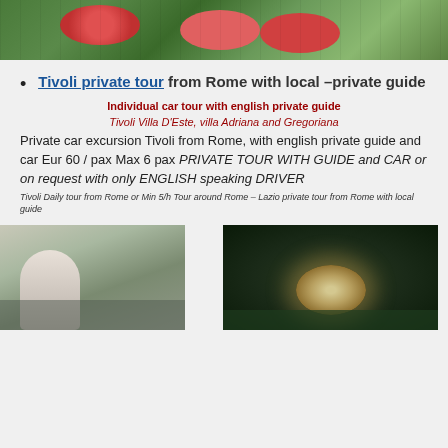[Figure (photo): Garden with hedges, flowers and gravel path viewed from above]
Tivoli private tour from Rome with local – private guide
Individual car tour with english private guide
Tivoli Villa D'Este, villa Adriana and Gregoriana
Private car excursion Tivoli from Rome, with english private guide and car Eur 60 / pax Max 6 pax PRIVATE TOUR WITH GUIDE and CAR or on request with only ENGLISH speaking DRIVER
Tivoli Daily tour from Rome or Min 5/h Tour around Rome – Lazio private tour from Rome with local guide
[Figure (photo): Two photos: left shows a classical statue reflection in water with columns; right shows illuminated fountains at night]
[Figure (photo): Illuminated night fountain at Tivoli gardens]